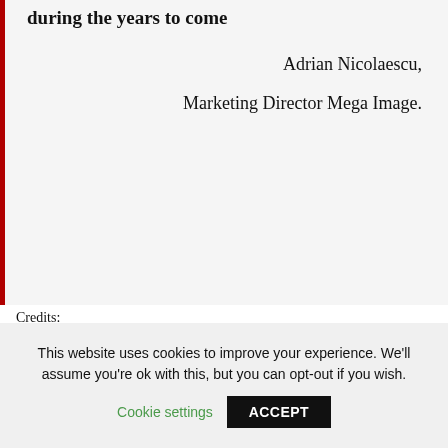during the years to come
Adrian Nicolaescu,
Marketing Director Mega Image.
Credits:
McCann Bucharest: Executive Creative Director: Catalin Dobre, Art Director: Mihai Gheorghe, Copywriter: Daniel Dobrin, Client Service Director: Dana Hogea; Group Account Director: Gabriela Alexandrescu, Account Manager: Mihaela Vasilescu; Account Executive: Iulia Ciortan; Corporate Communication Manager: Carmen Bistrian; AV Producer: Alexandru Platon; Senior DTP: Victor Huzum; Production Manager: Petre Bruma.
This website uses cookies to improve your experience. We'll assume you're ok with this, but you can opt-out if you wish.
Cookie settings
ACCEPT